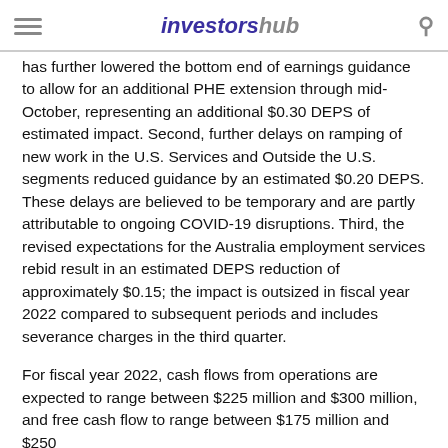investorshub
has further lowered the bottom end of earnings guidance to allow for an additional PHE extension through mid-October, representing an additional $0.30 DEPS of estimated impact. Second, further delays on ramping of new work in the U.S. Services and Outside the U.S. segments reduced guidance by an estimated $0.20 DEPS. These delays are believed to be temporary and are partly attributable to ongoing COVID-19 disruptions. Third, the revised expectations for the Australia employment services rebid result in an estimated DEPS reduction of approximately $0.15; the impact is outsized in fiscal year 2022 compared to subsequent periods and includes severance charges in the third quarter.
For fiscal year 2022, cash flows from operations are expected to range between $225 million and $300 million, and free cash flow to range between $175 million and $250